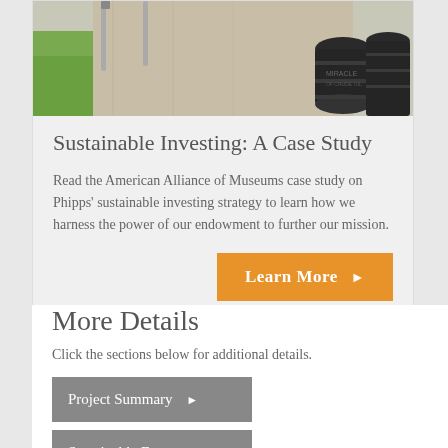[Figure (photo): Outdoor photo showing a concrete pathway with green grass on the left and dark cylindrical barrels/bollards on the right]
Sustainable Investing: A Case Study
Read the American Alliance of Museums case study on Phipps' sustainable investing strategy to learn how we harness the power of our endowment to further our mission.
More Details
Click the sections below for additional details.
Project Summary ▶
Sustainable Features ▶